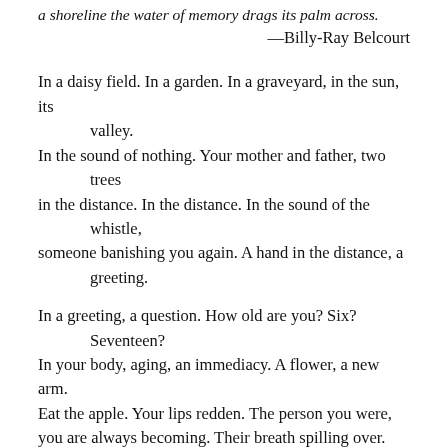a shoreline the water of memory drags its palm across.
—Billy-Ray Belcourt
In a daisy field. In a garden. In a graveyard, in the sun, its valley.
In the sound of nothing. Your mother and father, two trees
in the distance. In the distance. In the sound of the whistle,
someone banishing you again. A hand in the distance, a greeting.
In a greeting, a question. How old are you? Six? Seventeen?
In your body, aging, an immediacy. A flower, a new arm.
Eat the apple. Your lips redden. The person you were,
you are always becoming. Their breath spilling over.